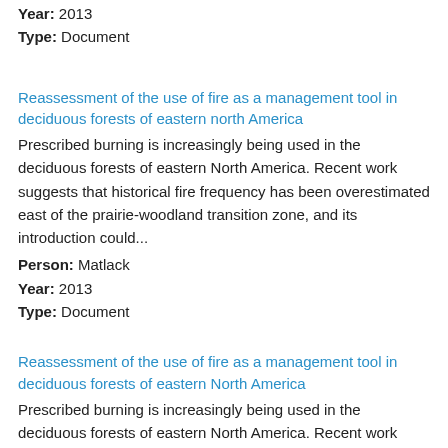Person: Kelly, Meloy, Fitch, Johnson, Burkhardt, Hedluly, grader.
Year: 2013
Type: Document
Reassessment of the use of fire as a management tool in deciduous forests of eastern north America
Prescribed burning is increasingly being used in the deciduous forests of eastern North America. Recent work suggests that historical fire frequency has been overestimated east of the prairie-woodland transition zone, and its introduction could...
Person: Matlack
Year: 2013
Type: Document
Reassessment of the use of fire as a management tool in deciduous forests of eastern North America
Prescribed burning is increasingly being used in the deciduous forests of eastern North America. Recent work suggests that historical fire frequency has been overestimated east of the prairie-woodland transition zone, and its introduction could...
Person: Matlack
Year: 2013
Type: Document